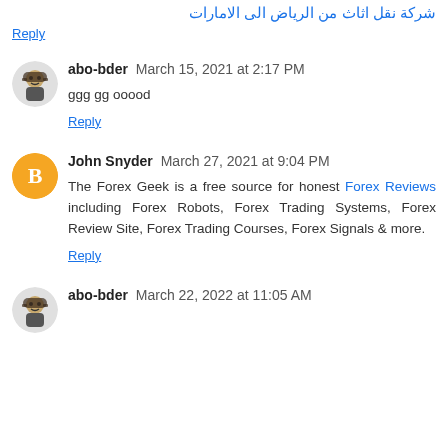شركة نقل اثاث من الرياض الى الامارات
Reply
abo-bder March 15, 2021 at 2:17 PM
ggg gg ooood
Reply
John Snyder March 27, 2021 at 9:04 PM
The Forex Geek is a free source for honest Forex Reviews including Forex Robots, Forex Trading Systems, Forex Review Site, Forex Trading Courses, Forex Signals & more.
Reply
abo-bder March 22, 2022 at 11:05 AM